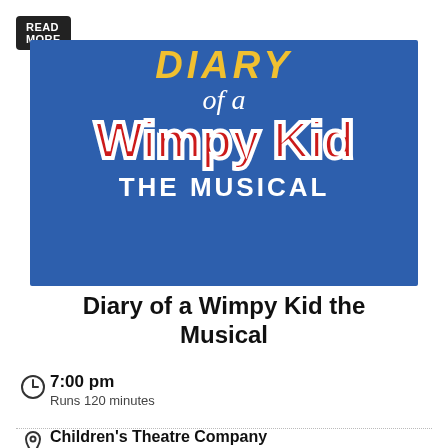READ MORE
[Figure (illustration): Promotional poster for 'Diary of a Wimpy Kid the Musical' on a blue background. Top shows 'DIARY' in yellow italic text, then 'of a' in white italic, then 'Wimpy Kid' in large red lettering with white outline, and 'THE MUSICAL' in bold white capital letters at the bottom.]
Diary of a Wimpy Kid the Musical
7:00 pm
Runs 120 minutes
Children's Theatre Company